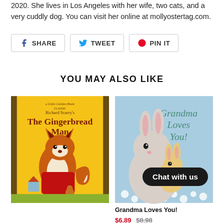2020. She lives in Los Angeles with her wife, two cats, and a very cuddly dog. You can visit her online at mollyostertag.com.
SHARE
TWEET
PIN IT
YOU MAY ALSO LIKE
[Figure (photo): Book cover: Richard Scarry's The Gingerbread Man – Little Golden Book Classic featuring a fox in red pants]
[Figure (photo): Book cover: Grandma Loves You! featuring two bunnies hugging in a flower field]
Grandma Loves You!
$6.89  $8.98